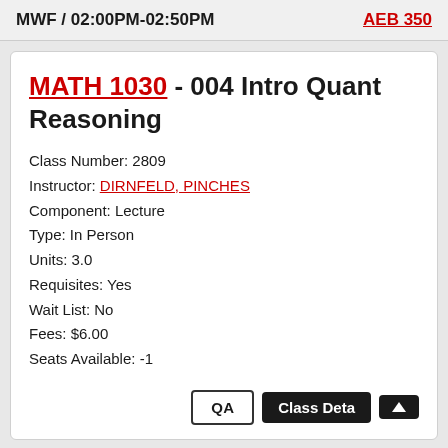MWF / 02:00PM-02:50PM
AEB 350
MATH 1030 - 004 Intro Quant Reasoning
Class Number: 2809
Instructor: DIRNFELD, PINCHES
Component: Lecture
Type: In Person
Units: 3.0
Requisites: Yes
Wait List: No
Fees: $6.00
Seats Available: -1
QA
Class Deta
↑